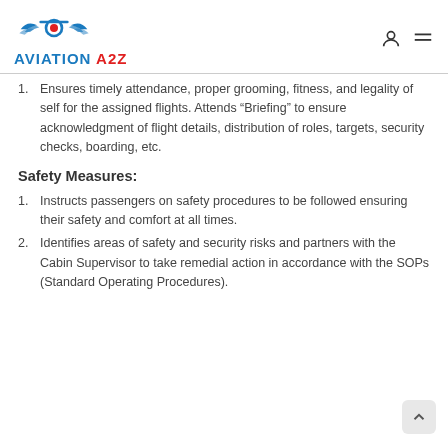AVIATION A2Z
1. Ensures timely attendance, proper grooming, fitness, and legality of self for the assigned flights. Attends “Briefing” to ensure acknowledgment of flight details, distribution of roles, targets, security checks, boarding, etc.
Safety Measures:
1. Instructs passengers on safety procedures to be followed ensuring their safety and comfort at all times.
2. Identifies areas of safety and security risks and partners with the Cabin Supervisor to take remedial action in accordance with the SOPs (Standard Operating Procedures).